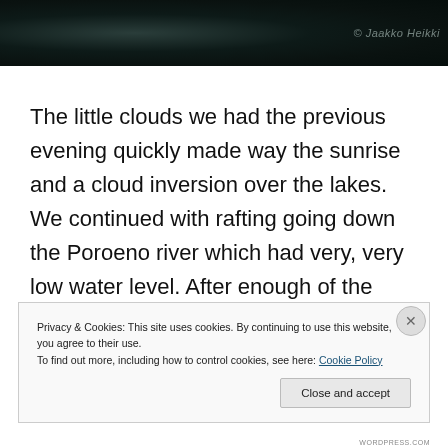[Figure (photo): Dark nature/water photograph with watermark text '© Jaakko Heikki' or similar, shown as a cropped strip at the top of the page.]
The little clouds we had the previous evening quickly made way the sunrise and a cloud inversion over the lakes. We continued with rafting going down the Poroeno river which had very, very low water level. After enough of the rocky rapids we decided to switch to walking and
Privacy & Cookies: This site uses cookies. By continuing to use this website, you agree to their use.
To find out more, including how to control cookies, see here: Cookie Policy
Close and accept